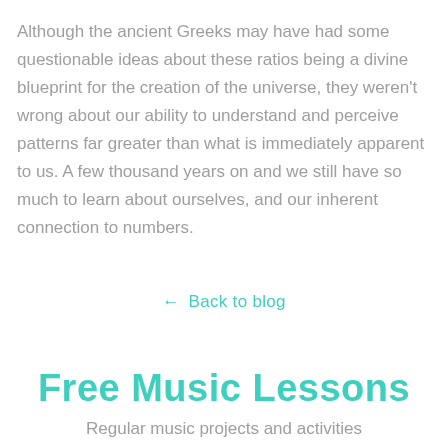Although the ancient Greeks may have had some questionable ideas about these ratios being a divine blueprint for the creation of the universe, they weren't wrong about our ability to understand and perceive patterns far greater than what is immediately apparent to us. A few thousand years on and we still have so much to learn about ourselves, and our inherent connection to numbers.
← Back to blog
Free Music Lessons
Regular music projects and activities